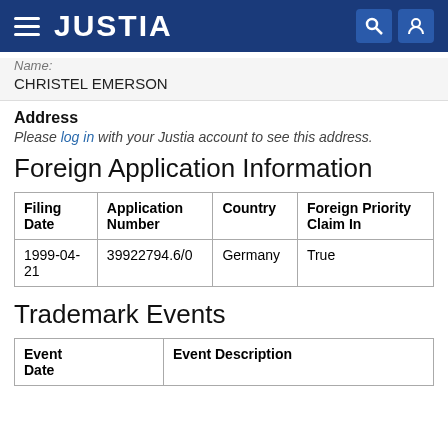JUSTIA
Name: CHRISTEL EMERSON
Address
Please log in with your Justia account to see this address.
Foreign Application Information
| Filing Date | Application Number | Country | Foreign Priority Claim In |
| --- | --- | --- | --- |
| 1999-04-21 | 39922794.6/0 | Germany | True |
Trademark Events
| Event Date | Event Description |
| --- | --- |